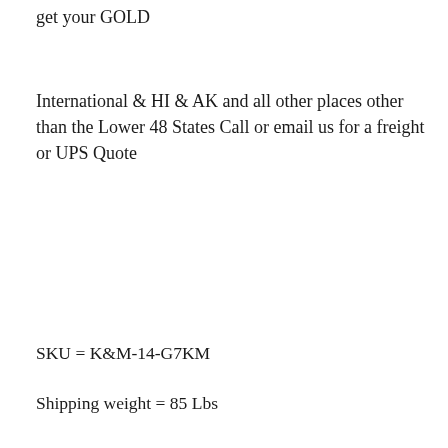get your GOLD
International & HI & AK and all other places other than the Lower 48 States Call or email us for a freight or UPS Quote
SKU = K&M-14-G7KM
Shipping weight = 85 Lbs